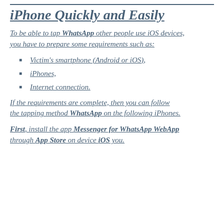iPhone Quickly and Easily
To be able to tap WhatsApp other people use iOS devices, you have to prepare some requirements such as:
Victim's smartphone (Android or iOS),
iPhones,
Internet connection.
If the requirements are complete, then you can follow the tapping method WhatsApp on the following iPhones.
First, install the app Messenger for WhatsApp WebApp through App Store on device iOS you.